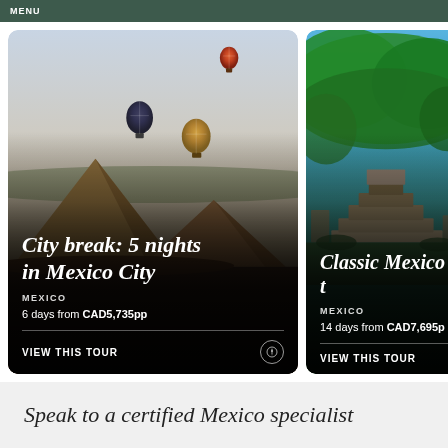MENU
[Figure (photo): Hot air balloons floating over Teotihuacan pyramids near Mexico City at dusk]
City break: 5 nights in Mexico City
MEXICO
6 days from CAD5,735pp
VIEW THIS TOUR
[Figure (photo): Aerial view of Palenque or similar Maya ruins surrounded by dense jungle greenery]
Classic Mexico t
MEXICO
14 days from CAD7,695p
VIEW THIS TOUR
Speak to a certified Mexico specialist